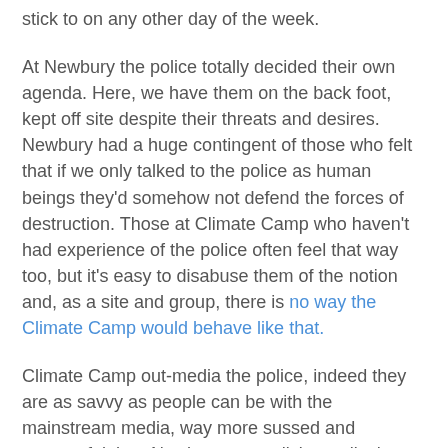stick to on any other day of the week.
At Newbury the police totally decided their own agenda. Here, we have them on the back foot, kept off site despite their threats and desires. Newbury had a huge contingent of those who felt that if we only talked to the police as human beings they'd somehow not defend the forces of destruction. Those at Climate Camp who haven't had experience of the police often feel that way too, but it's easy to disabuse them of the notion and, as a site and group, there is no way the Climate Camp would behave like that.
Climate Camp out-media the police, indeed they are as savvy as people can be with the mainstream media, way more sussed and successful than Newbury, normalising radical perspectives in a far more effective way.
There is a total absence of the dippy new-age bullshit that saturated Newbury. People chanting at trees to ensure they couldn't be cut down and that sort of gubbins. Climate Camp may be idealists, but they're realistic and practical ones. My favourite kind,